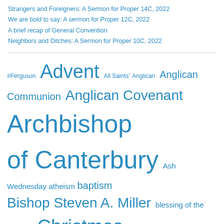Strangers and Foreigners: A Sermon for Proper 14C, 2022
We are bold to say: A sermon for Proper 12C, 2022
A brief recap of General Convention
Neighbors and Ditches: A Sermon for Proper 10C, 2022
[Figure (infographic): Tag cloud with Anglican/Episcopal religious terms in various font sizes. Largest tags: Archbishop of Canterbury, Christmas, Episcopal Church. Large tags: Advent, Anglican Communion, Anglican Covenant, Easter. Medium tags: Bishop Steven A. Miller, discipleship, baptism. Small tags: #Ferguson, All Saints', Anglican, Ash Wednesday, atheism, blessing of the animals, collects, Crusty Old Dean, Dietrich Bonhoeffer, Diocese of Milwaukee, downtown Madison, Epiphany, Episcopal, Episcopal Church budget.]